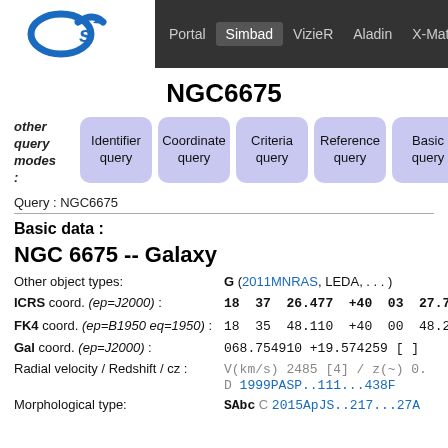[Figure (logo): CDS logo - stylized circular arrow symbol in blue]
Portal  Simbad  VizieR  Aladin  X-Match  Othe
NGC6675
other query modes :
Identifier query | Coordinate query | Criteria query | Reference query | Basic query
Query : NGC6675
Basic data :
NGC 6675 -- Galaxy
Other object types: G (2011MNRAS, LEDA, . . . )
ICRS coord. (ep=J2000) : 18 37 26.477 +40 03 27.75
FK4 coord. (ep=B1950 eq=1950) : 18 35 48.110 +40 00 48.27
Gal coord. (ep=J2000) : 068.754910 +19.574259 [ ]
Radial velocity / Redshift / cz : V(km/s) 2485 [4] / z(~) 0. D 1999PASP..111...438F
Morphological type: SAbc C 2015ApJS..217...27A